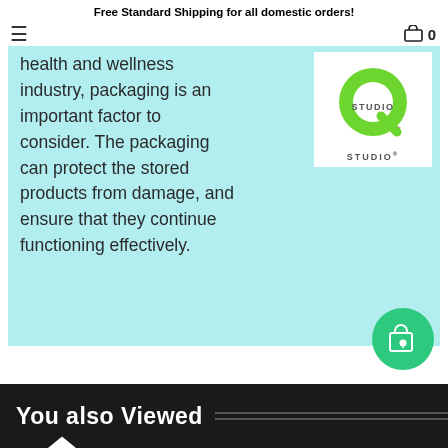Free Standard Shipping for all domestic orders!
health and wellness industry, packaging is an important factor to consider. The packaging can protect the stored products from damage, and ensure that they continue functioning effectively.
[Figure (logo): Q Studio logo - green Q letter with STUDIO text below on white background]
You also Viewed